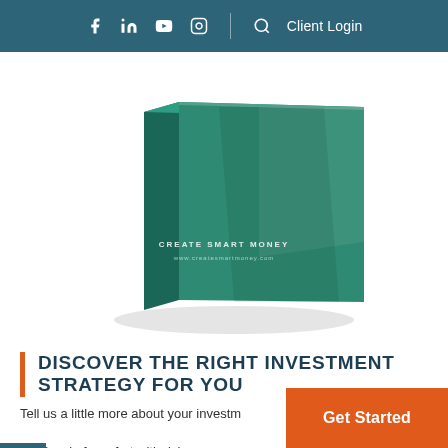f in ▶ 📷 | 🔍 Client Login
[Figure (illustration): A green hardcover book/binder shown in 3D perspective on a white background. The cover reads 'CREATE SMART MONEY' with a website URL below it.]
DISCOVER THE RIGHT INVESTMENT STRATEGY FOR YOU
Tell us a little more about your investment and level of comfort with risk.
Get Started